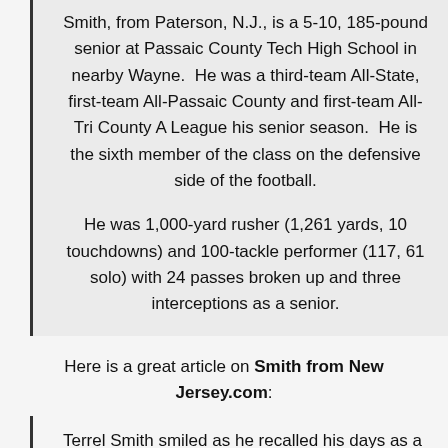Smith, from Paterson, N.J., is a 5-10, 185-pound senior at Passaic County Tech High School in nearby Wayne.  He was a third-team All-State, first-team All-Passaic County and first-team All-Tri County A League his senior season.  He is the sixth member of the class on the defensive side of the football.
He was 1,000-yard rusher (1,261 yards, 10 touchdowns) and 100-tackle performer (117, 61 solo) with 24 passes broken up and three interceptions as a senior.
Here is a great article on Smith from New Jersey.com:
Terrel Smith smiled as he recalled his days as a 6-